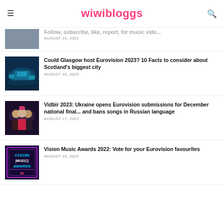wiwibloggs
[Figure (photo): Partial article image at top, clipped]
AUGUST 19, 2022
[Figure (photo): Glasgow arena lit in blue and green at night]
Could Glasgow host Eurovision 2023? 10 Facts to consider about Scotland's biggest city
AUGUST 18, 2022
[Figure (photo): Three people posing, Ukraine music group]
Vidbir 2023: Ukraine opens Eurovision submissions for December national final... and bans songs in Russian language
AUGUST 17, 2022
[Figure (photo): Vision Music Awards 2022 promotional graphic]
Vision Music Awards 2022: Vote for your Eurovision favourites
AUGUST 16, 2022